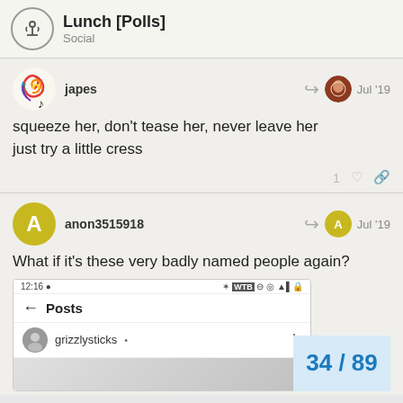Lunch [Polls] Social
japes
squeeze her, don't tease her, never leave her
just try a little cress
anon3515918
What if it's these very badly named people again?
[Figure (screenshot): Mobile phone screenshot showing a Posts view with grizzlysticks username and a partial image below]
34 / 89